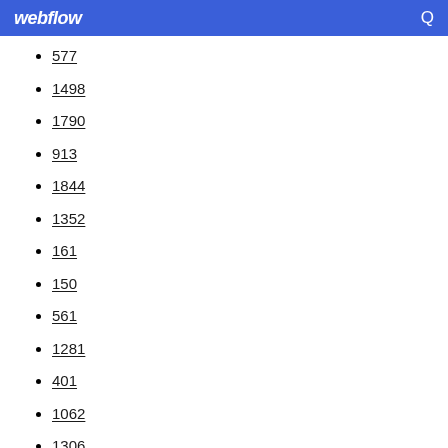webflow
577
1498
1790
913
1844
1352
161
150
561
1281
401
1062
1306